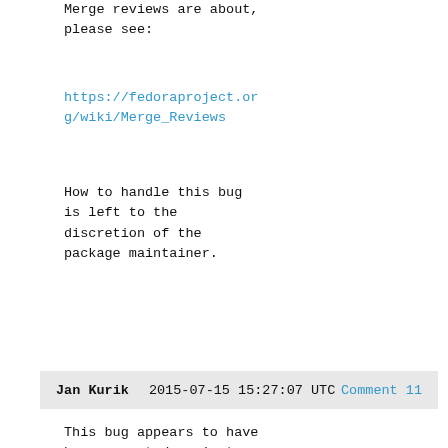Merge reviews are about, please see:
https://fedoraproject.org/wiki/Merge_Reviews
How to handle this bug is left to the discretion of the package maintainer.
Jan Kurik   2015-07-15 15:27:07 UTC   Comment 11
This bug appears to have been reported against 'rawhide' during the Fedora 23 development cycle.
Changing version to '23'.

(As we did not run this process for some time, it could affect also pre-Fedora 23 development